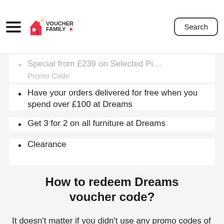Voucher Family – navigation header with hamburger menu, logo, and Search button
Special from £239 on Selected Pillows starting - at Dreams Promo Code
Have your orders delivered for free when you spend over £100 at Dreams
Get 3 for 2 on all furniture at Dreams
Clearance
How to redeem Dreams voucher code?
It doesn't matter if you didn't use any promo codes of Dreams before. Here are some simple steps that can help you save a lot: